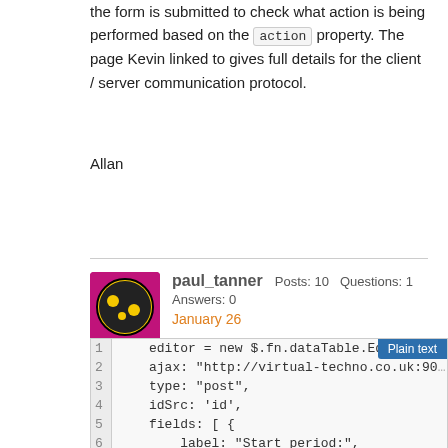the form is submitted to check what action is being performed based on the action property. The page Kevin linked to gives full details for the client / server communication protocol.
Allan
paul_tanner   Posts: 10   Questions: 1   Answers: 0
January 26
Thx Allan,
OK. Made progress.
Now I say:
[Figure (screenshot): Code editor block showing JavaScript code with line numbers 1-9. Line 1: editor = new $.fn.dataTable.Ed... Line 2: ajax: "http://virtual-techno.co.uk:90... Line 3: type: "post", Line 4: idSrc: 'id', Line 5: fields: [ { Line 6: label: "Start period:", Line 7: name: "pstart" Line 8: }, { Line 9: label: "End period:", A 'Plain text' button is visible in the top right.]